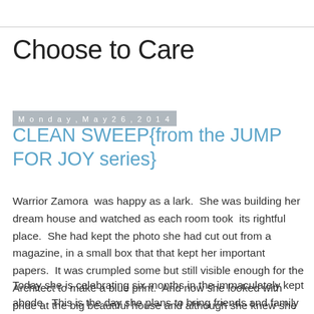Choose to Care
Monday, May 26, 2014
CLEAN SWEEP{from the JUMP FOR JOY series}
Warrior Zamora  was happy as a lark.  She was building her dream house and watched as each room took  its rightful place.  She had kept the photo she had cut out from a magazine, in a small box that that kept her important papers.  It was crumpled some but still visible enough for the Architect to make a blue print.  And now she looked with pride at the big beautiful house and although she knew she did not need as many rooms, she wanted them anyhow.
Today she is celebrating six months in the immaculately kept abode.  This is the day she plans to bring friends and family together to give thanks for this house.  She had an extensive